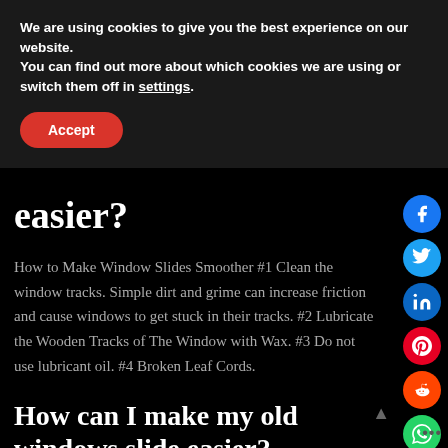We are using cookies to give you the best experience on our website.
You can find out more about which cookies we are using or switch them off in settings.
Accept
easier?
How to Make Window Slides Smoother #1 Clean the window tracks. Simple dirt and grime can increase friction and cause windows to get stuck in their tracks. #2 Lubricate the Wooden Tracks of The Window with Wax. #3 Do not use lubricant oil. #4 Broken Leaf Cords.
How can I make my old windows slide easier?